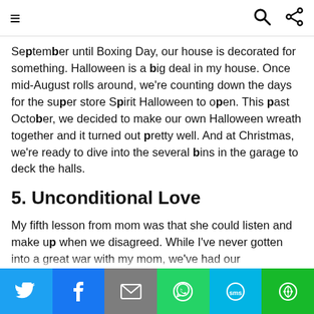≡  🔍  ⋮
September until Boxing Day, our house is decorated for something. Halloween is a big deal in my house. Once mid-August rolls around, we're counting down the days for the super store Spirit Halloween to open. This past October, we decided to make our own Halloween wreath together and it turned out pretty well. And at Christmas, we're ready to dive into the several bins in the garage to deck the halls.
5. Unconditional Love
My fifth lesson from mom was that she could listen and make up when we disagreed. While I've never gotten into a great war with my mom, we've had our disagreements. But no matter what, we got o…